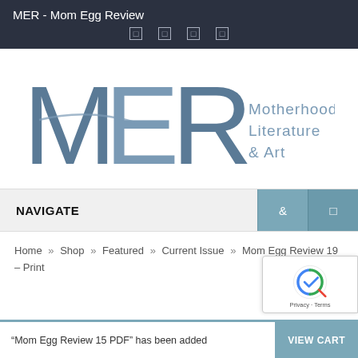MER - Mom Egg Review
[Figure (logo): MER - Mom Egg Review logo with large stylized letters M, E, R in steel blue and text 'Motherhood Literature & Art' to the right]
NAVIGATE
Home » Shop » Featured » Current Issue » Mom Egg Review 19 – Print
"Mom Egg Review 15 PDF" has been added
VIEW CART